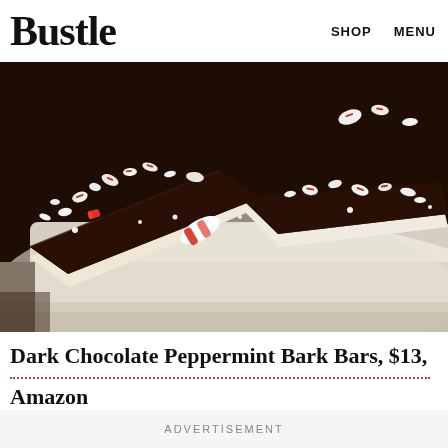Bustle   SHOP   MENU
[Figure (photo): Close-up photo of dark chocolate peppermint bark bars topped with crushed candy cane pieces (red and white), layered with white chocolate underneath, arranged on a white plate]
Dark Chocolate Peppermint Bark Bars, $13, Amazon
ADVERTISEMENT